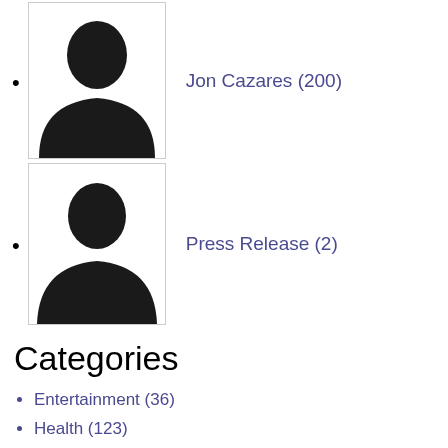Jon Cazares (200)
[Figure (photo): Silhouette placeholder profile photo for Jon Cazares]
Press Release (2)
[Figure (photo): Silhouette placeholder profile photo for Press Release]
Categories
Entertainment  (36)
Health  (123)
Money  (15)
News & Information  (476)
Opinion  (171)
Politics  (25)